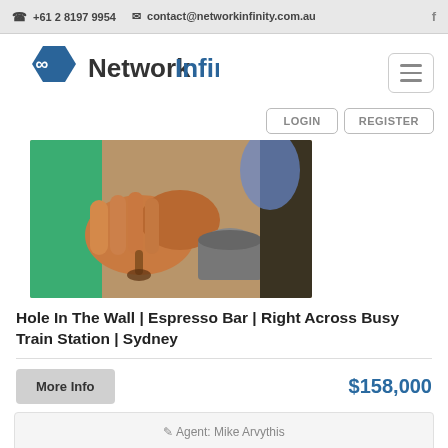+61 2 8197 9954  contact@networkinfinity.com.au
[Figure (logo): Network Infinity hexagon logo with infinity symbol and text 'NetworkInfinity']
[Figure (photo): Close-up photo of barista hands pouring espresso coffee, green background on left]
Hole In The Wall | Espresso Bar | Right Across Busy Train Station | Sydney
More Info
$158,000
Agent: Mike Arvythis